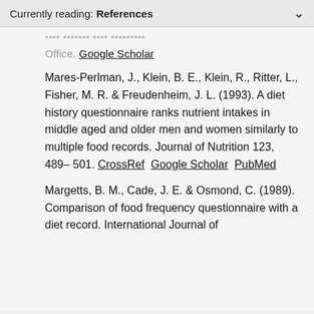Currently reading: References
...Office. Google Scholar
Mares-Perlman, J., Klein, B. E., Klein, R., Ritter, L., Fisher, M. R. & Freudenheim, J. L. (1993). A diet history questionnaire ranks nutrient intakes in middle aged and older men and women similarly to multiple food records. Journal of Nutrition 123, 489–501. CrossRef Google Scholar PubMed
Margetts, B. M., Cade, J. E. & Osmond, C. (1989). Comparison of food frequency questionnaire with a diet record. International Journal of